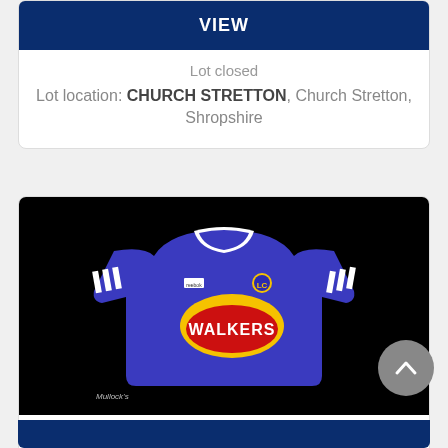VIEW
Lot closed
Lot location: CHURCH STRETTON, Church Stretton, Shropshire
[Figure (photo): Leicester City FC blue football shirt with white collar and white sleeve stripes, featuring Walkers crisps sponsor logo on the front. Black background. Mullock's watermark in bottom left corner.]
Lot 36
2000 Leicester City FC Worthington Cup Final Football Shirt sponsored by Walkers, Made by Fox